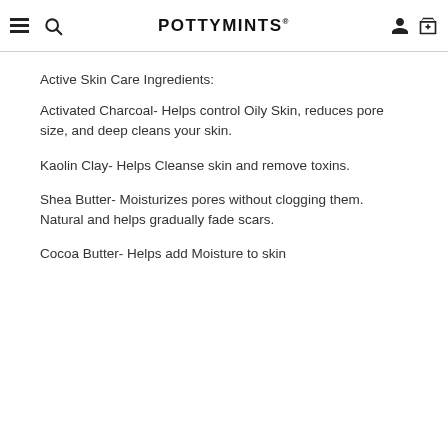POTTYMINTS
Active Skin Care Ingredients:
Activated Charcoal- Helps control Oily Skin, reduces pore size, and deep cleans your skin.
Kaolin Clay- Helps Cleanse skin and remove toxins.
Shea Butter- Moisturizes pores without clogging them. Natural and helps gradually fade scars.
Cocoa Butter- Helps add Moisture to skin